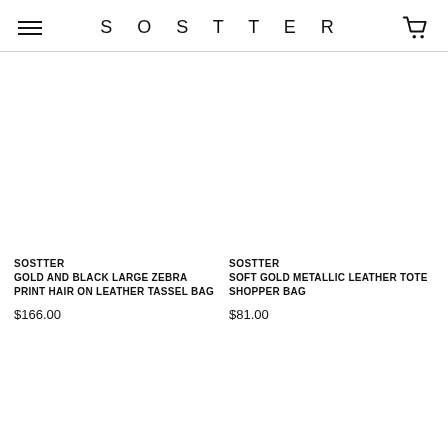SOSTTER
SOSTTER
GOLD AND BLACK LARGE ZEBRA PRINT HAIR ON LEATHER TASSEL BAG
$166.00
SOSTTER
SOFT GOLD METALLIC LEATHER TOTE SHOPPER BAG
$81.00